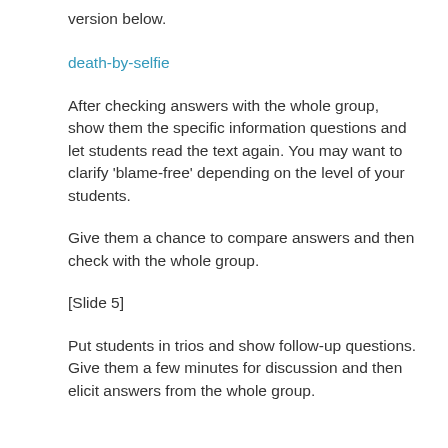version below.
death-by-selfie
After checking answers with the whole group, show them the specific information questions and let students read the text again. You may want to clarify ‘blame-free’ depending on the level of your students.
Give them a chance to compare answers and then check with the whole group.
[Slide 5]
Put students in trios and show follow-up questions. Give them a few minutes for discussion and then elicit answers from the whole group.